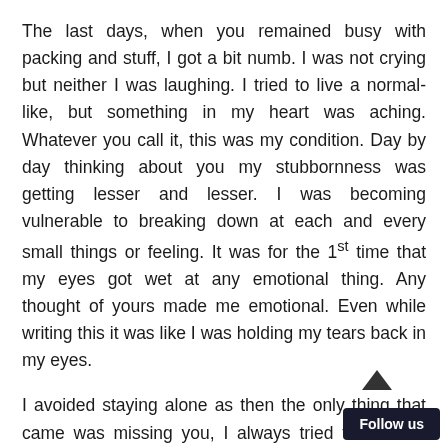The last days, when you remained busy with packing and stuff, I got a bit numb. I was not crying but neither I was laughing. I tried to live a normal-like, but something in my heart was aching. Whatever you call it, this was my condition. Day by day thinking about you my stubbornness was getting lesser and lesser. I was becoming vulnerable to breaking down at each and every small things or feeling. It was for the 1st time that my eyes got wet at any emotional thing. Any thought of yours made me emotional. Even while writing this it was like I was holding my tears back in my eyes.
I avoided staying alone as then the only thing that came was missing you, I always tried to be in a company of 2-3 people. But somehow I was not even able to tell the best of the people's in my life that what I was feeling and for whom I was feeling. A they say certain special things are alwa...